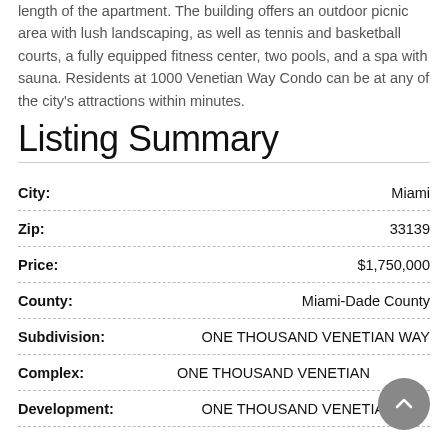length of the apartment. The building offers an outdoor picnic area with lush landscaping, as well as tennis and basketball courts, a fully equipped fitness center, two pools, and a spa with sauna. Residents at 1000 Venetian Way Condo can be at any of the city's attractions within minutes.
Listing Summary
| Field | Value |
| --- | --- |
| City: | Miami |
| Zip: | 33139 |
| Price: | $1,750,000 |
| County: | Miami-Dade County |
| Subdivision: | ONE THOUSAND VENETIAN WAY |
| Complex: | ONE THOUSAND VENETIAN... |
| Development: | ONE THOUSAND VENETIAN WAY |